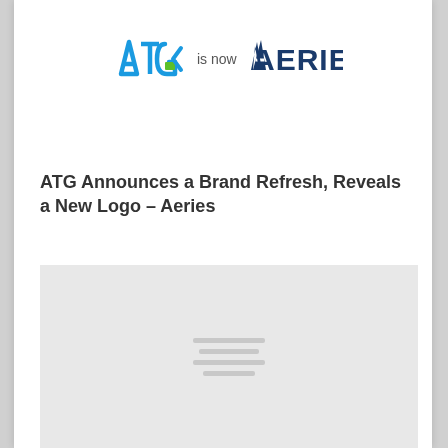[Figure (logo): ATG logo (blue/green angular letters) followed by 'is now' text and AERIES logo in dark blue bold letters]
ATG Announces a Brand Refresh, Reveals a New Logo – Aeries
[Figure (photo): Image loading placeholder with gray background and loading indicator lines]